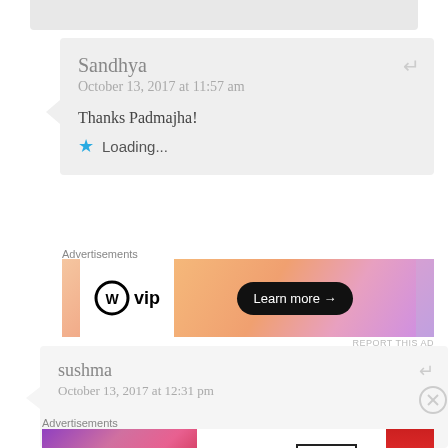[Figure (screenshot): Top gray comment card strip partially visible]
Sandhya
October 13, 2017 at 11:57 am
Thanks Padmajha!
Loading...
Advertisements
[Figure (other): WordPress VIP advertisement banner with Learn more button]
REPORT THIS AD
sushma
October 13, 2017 at 12:31 pm
Advertisements
[Figure (other): MAC Cosmetics advertisement with lipsticks and Shop Now button]